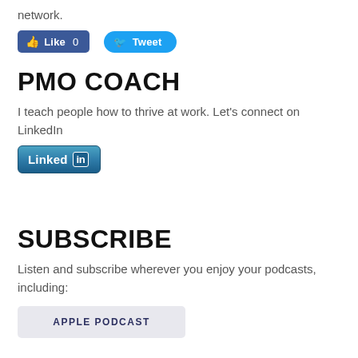network.
[Figure (screenshot): Facebook Like button showing 'Like 0' and Twitter Tweet button]
PMO COACH
I teach people how to thrive at work. Let's connect on LinkedIn
[Figure (logo): LinkedIn connect button]
SUBSCRIBE
Listen and subscribe wherever you enjoy your podcasts, including:
[Figure (screenshot): Apple Podcast button]